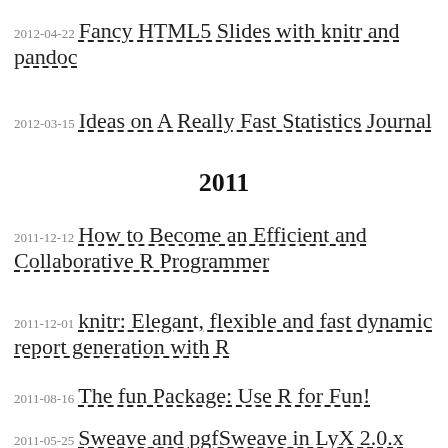2012-04-22 Fancy HTML5 Slides with knitr and pandoc
2012-03-15 Ideas on A Really Fast Statistics Journal
2011
2011-12-12 How to Become an Efficient and Collaborative R Programmer
2011-12-01 knitr: Elegant, flexible and fast dynamic report generation with R
2011-08-16 The fun Package: Use R for Fun!
2011-05-25 Sweave and pgfSweave in LyX 2.0.x